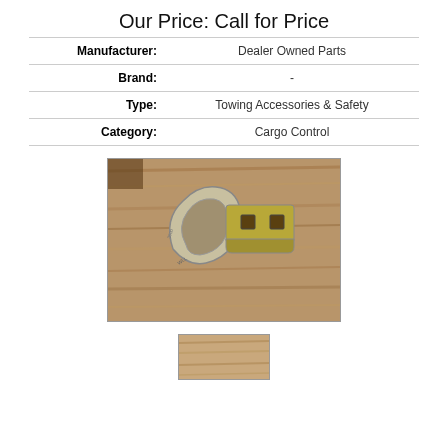Our Price: Call for Price
| Label | Value |
| --- | --- |
| Manufacturer: | Dealer Owned Parts |
| Brand: | - |
| Type: | Towing Accessories & Safety |
| Category: | Cargo Control |
[Figure (photo): A metal D-ring with a surface mount bracket, placed on a wood-grain surface. The ring is silver/galvanized steel with two square holes in the bracket.]
[Figure (photo): Partial thumbnail view of the same or similar metal D-ring product on a wood surface, cropped at the bottom of the page.]